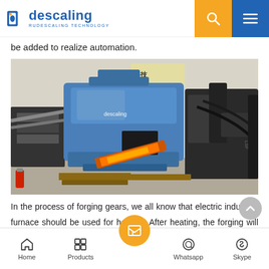descaling — RUDESCALING TECHNOLOGY
be added to realize automation.
[Figure (photo): Industrial descaling machine (blue) with a robotic arm setup, showing a heated metal billet being processed on a conveyor/feed system inside a manufacturing facility.]
In the process of forging gears, we all know that electric induction furnace should be used for heating. After heating, the forging will produce oxidation reaction in contact with air, resulting in forge oxide scale. This ox... skin will seriously affect
Home | Products | [contact form] | Whatsapp | Skype